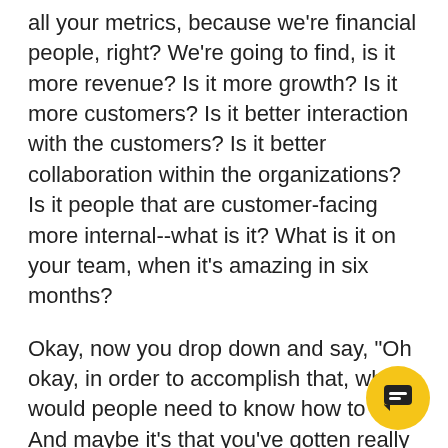all your metrics, because we're financial people, right? We're going to find, is it more revenue? Is it more growth? Is it more customers? Is it better interaction with the customers? Is it better collaboration within the organizations? Is it people that are customer-facing more internal--what is it? What is it on your team, when it's amazing in six months?
Okay, now you drop down and say, "Oh okay, in order to accomplish that, what would people need to know how to do?" And maybe it's that you've gotten really successful, and you're growing functionally, and you need to look at problems of scale, right? And the thing about problems of scale is they're best solved by people